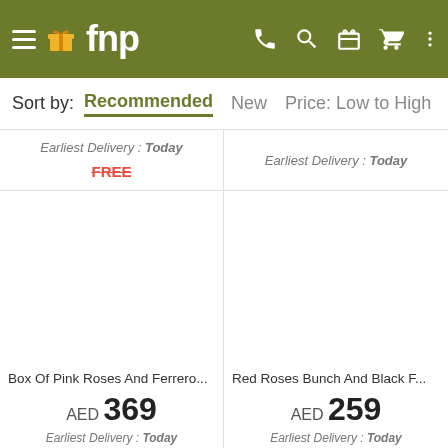[Figure (screenshot): FNP mobile app header with hamburger menu, FNP logo, and icons for phone, search, gift, cart, and more]
Sort by: Recommended New Price: Low to High P...
Earliest Delivery : Today
Earliest Delivery : Today
FREE
Box Of Pink Roses And Ferrero...
AED 369
Earliest Delivery : Today
Red Roses Bunch And Black F...
AED 259
Earliest Delivery : Today